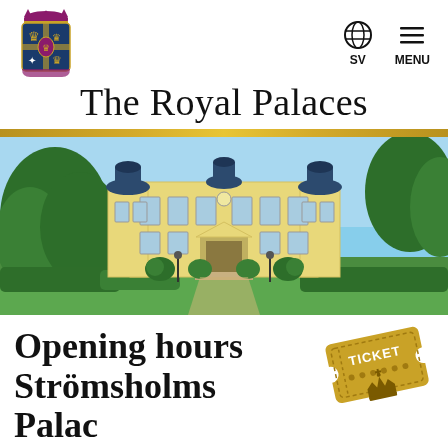[Figure (logo): Swedish Royal coat of arms logo in purple, red, gold and white]
[Figure (infographic): Globe icon with 'SV' label and hamburger menu icon with 'MENU' label — navigation icons]
The Royal Palaces
[Figure (photo): Photograph of Strömsholms Palace — a yellow baroque palace building with blue roof domes, surrounded by green trees and manicured grounds on a sunny day]
Opening hours Strömsholms Palace
[Figure (illustration): Gold-colored ticket stub illustration with 'TICKET' text and a crown/royal symbol]